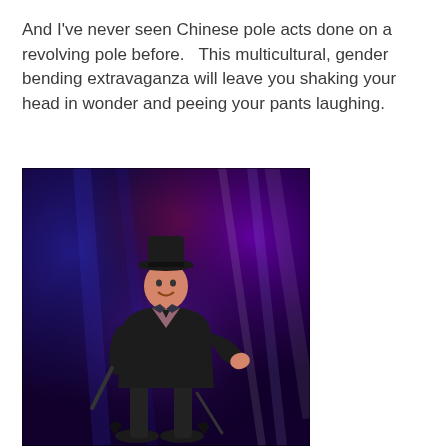And I've never seen Chinese pole acts done on a revolving pole before.   This multicultural, gender bending extravaganza will leave you shaking your head in wonder and peeing your pants laughing.
[Figure (photo): A performer on stage wearing a black top hat and black jacket, standing in front of a dramatic lighting backdrop of blue, red, and purple stage lights. The performer appears to be gesturing expressively.]